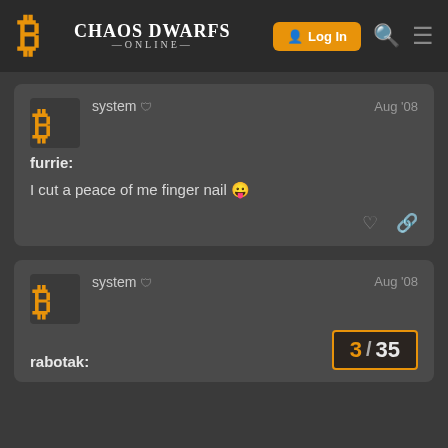Chaos Dwarfs Online — Log In
furrie:
I cut a peace of me finger nail 😜
rabotak:
3 / 35